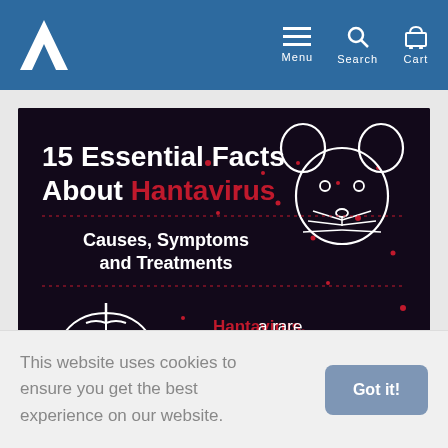Site header with logo, Menu, Search, Cart navigation
[Figure (infographic): Dark-themed infographic titled '15 Essential Facts About Hantavirus — Causes, Symptoms and Treatments'. Features a white line-art mouse/rodent illustration on the right, a white line-art lungs illustration on the lower left, red dot particles scattered throughout. Text reads: 'Hantavirus, a rare infectious disease, can result in respiratory failure.']
This website uses cookies to ensure you get the best experience on our website.